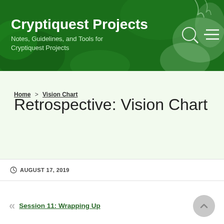Cryptiquest Projects
Notes, Guidelines, and Tools for Cryptiquest Projects
Home > Vision Chart
Retrospective: Vision Chart
AUGUST 17, 2019
Session 11: Wrapping Up